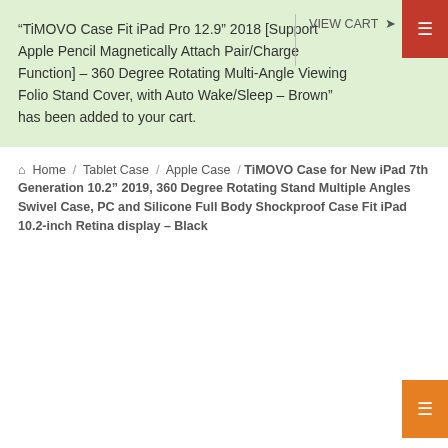“TiMOVO Case Fit iPad Pro 12.9” 2018 [Support Apple Pencil Magnetically Attach Pair/Charge Function] – 360 Degree Rotating Multi-Angle Viewing Folio Stand Cover, with Auto Wake/Sleep – Brown” has been added to your cart.
VIEW CART
⌂  Home  /  Tablet Case  /  Apple Case  / TiMOVO Case for New iPad 7th Generation 10.2” 2019, 360 Degree Rotating Stand Multiple Angles Swivel Case, PC and Silicone Full Body Shockproof Case Fit iPad 10.2-inch Retina display – Black